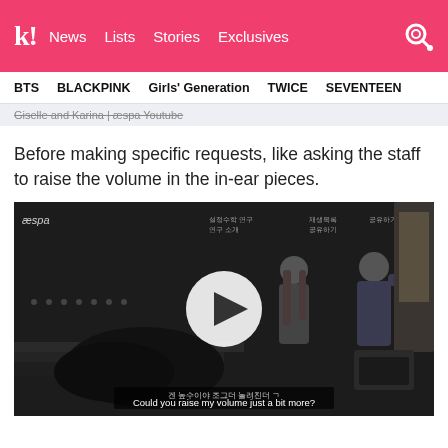k! News Lists Stories Exclusives
BTS   BLACKPINK   Girls' Generation   TWICE   SEVENTEEN
Giselle and Karina | æspa YouTube
Before making specific requests, like asking the staff to raise the volume in the in-ear pieces.
[Figure (screenshot): Video screenshot showing two women on a dark stage set with a play button overlay. Subtitle reads: 'Could you raise my volume just a bit more?']